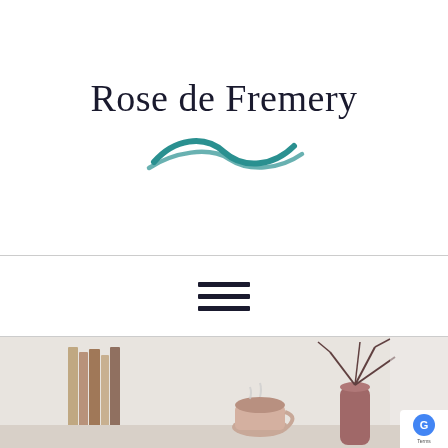[Figure (logo): Rose de Fremery logo with stylized teal wave/swirl decoration beneath the text]
[Figure (other): Hamburger menu icon (three horizontal bars) for mobile navigation]
[Figure (photo): Partial photo showing books stacked, a teacup, and a vase with branches on a light background]